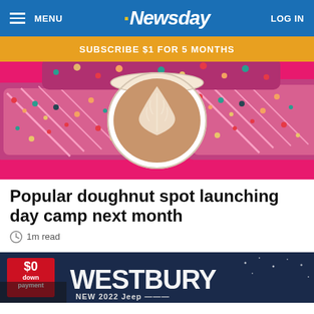MENU | .Newsday | LOG IN
SUBSCRIBE $1 FOR 5 MONTHS
[Figure (photo): Overhead view of colorful frosted doughnuts covered in Fruity Pebbles cereal with pink drizzle, surrounding a latte with leaf latte art, on a pink background]
Popular doughnut spot launching day camp next month
1m read
[Figure (photo): Westbury Jeep dealership advertisement: '$0 down payment', 'Westbury', 'NEW 2022 Jeep', 'MAKE THIS THE SUMMER EVENT']